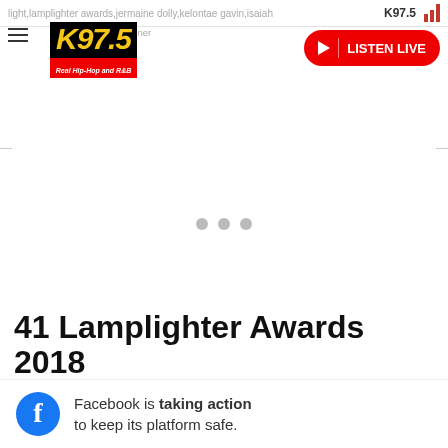light,lamplighter awards,jermaine dolly,kelontae gavin,isaiah ple... e lauchner | K97.5
[Figure (logo): K97.5 Real Hip-Hop and R&B radio station logo, black background with yellow italic text]
[Figure (other): Listen Live button (red pill-shaped button with play icon and text LISTEN LIVE)]
[Figure (other): Advertisement placeholder area with three grey dots indicating loading]
41 Lamplighter Awards 2018
[Figure (other): Facebook banner ad: Facebook is taking action to keep its platform safe.]